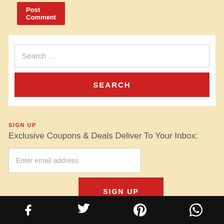Post Comment
[Figure (other): Search box with text input and red SEARCH button]
SIGN UP
Exclusive Coupons & Deals Deliver To Your Inbox:
[Figure (other): Email input field with placeholder 'Enter email address']
[Figure (other): Red SIGN UP button]
Facebook, Twitter, Pinterest, WhatsApp icons